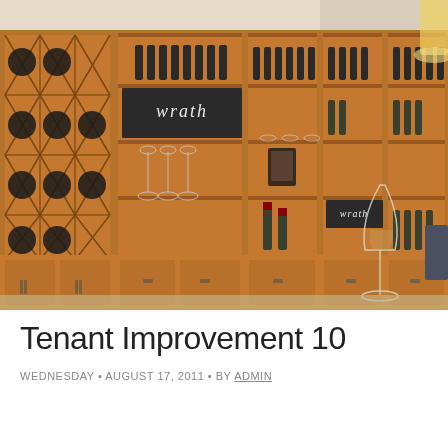[Figure (photo): Interior photo of a wine tasting room with floor-to-ceiling wooden shelving units filled with wine bottles. A diamond-pattern wine rack is visible on the left with dark wine bottles. The word 'wrath' is written in chalk on a dark shelf panel. Wine glasses are arranged on shelves. A granite countertop bar is in the foreground with a wine glass on it. Warm pendant lighting illuminates the space.]
Tenant Improvement 10
WEDNESDAY • AUGUST 17, 2011 • BY ADMIN